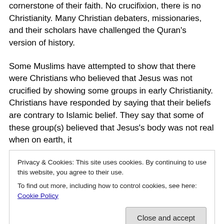cornerstone of their faith. No crucifixion, there is no Christianity. Many Christian debaters, missionaries, and their scholars have challenged the Quran's version of history.
Some Muslims have attempted to show that there were Christians who believed that Jesus was not crucified by showing some groups in early Christianity. Christians have responded by saying that their beliefs are contrary to Islamic belief. They say that some of these group(s) believed that Jesus's body was not real when on earth, it
Privacy & Cookies: This site uses cookies. By continuing to use this website, you agree to their use.
To find out more, including how to control cookies, see here: Cookie Policy
Christ, his historical and bodily existence, and thus above